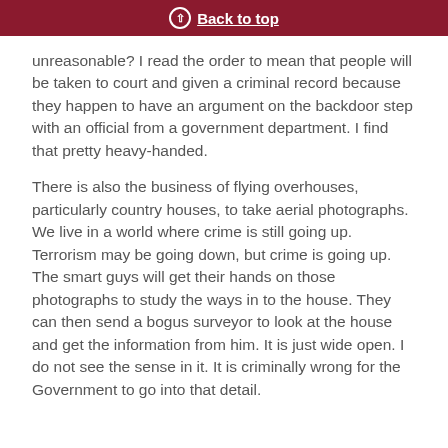Back to top
unreasonable? I read the order to mean that people will be taken to court and given a criminal record because they happen to have an argument on the backdoor step with an official from a government department. I find that pretty heavy-handed.
There is also the business of flying overhouses, particularly country houses, to take aerial photographs. We live in a world where crime is still going up. Terrorism may be going down, but crime is going up. The smart guys will get their hands on those photographs to study the ways in to the house. They can then send a bogus surveyor to look at the house and get the information from him. It is just wide open. I do not see the sense in it. It is criminally wrong for the Government to go into that detail.